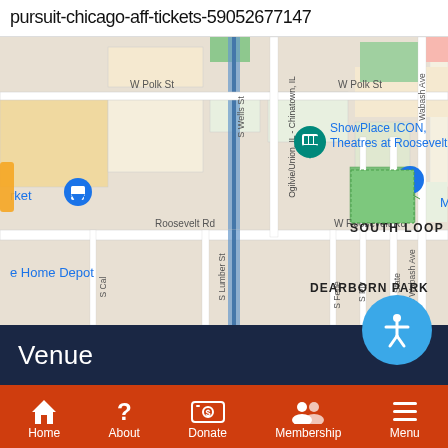pursuit-chicago-aff-tickets-59052677147
[Figure (map): Google Maps screenshot showing South Loop / Dearborn Park area of Chicago, IL. Visible landmarks include ShowPlace ICON Theatres at Roosevelt, Target, Museum Campus, Home Depot, and streets W Polk St, W Roosevelt Rd, S Wells St, Ogilvie/Union IL-Chinatown rail line, S Lumber St, S Wabash Ave, S State, S Ply, S Fede.]
Venue
Home  About  Donate  Membership  Menu